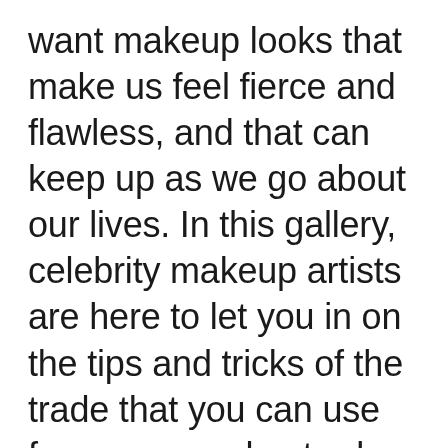want makeup looks that make us feel fierce and flawless, and that can keep up as we go about our lives. In this gallery, celebrity makeup artists are here to let you in on the tips and tricks of the trade that you can use for your own day-to-day style. While you may not have hours to spare for your makeup, these tweaks can help you bring your look up a notch. Click through to find out the best celebrity makeup tricks that you can do at home.